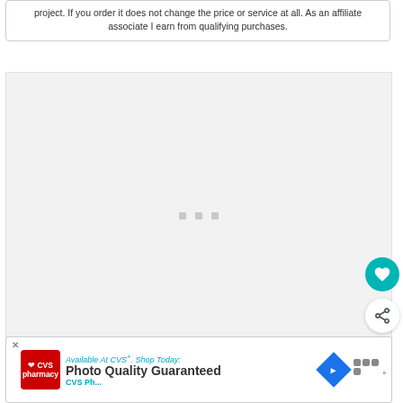project. If you order it does not change the price or service at all. As an affiliate associate I earn from qualifying purchases.
[Figure (photo): Large image placeholder area with light gray background and three small gray square dots visible in the center, indicating a loading or empty image region. A teal heart/favorite button and a white share button appear overlaid on the right side.]
WHAT'S NEXT → Beaded Wreath Hanger
[Figure (screenshot): CVS Pharmacy advertisement banner. Shows CVS pharmacy logo in red, text 'Available At CVS+. Shop Today:' in teal italic, 'Photo Quality Guaranteed' in bold dark text, 'CVS Ph...' in teal, a blue navigation diamond icon, and a dark dots/menu icon.]